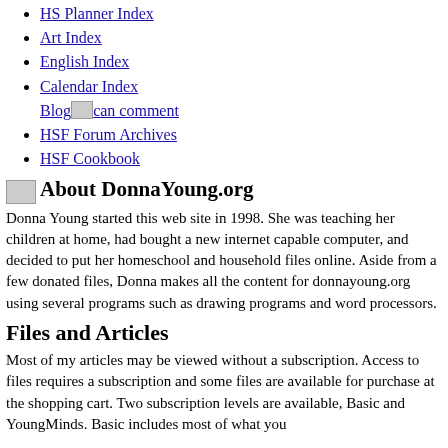HS Planner Index
Art Index
English Index
Calendar Index
Blog [image] can comment
HSF Forum Archives
HSF Cookbook
About DonnaYoung.org
Donna Young started this web site in 1998. She was teaching her children at home, had bought a new internet capable computer, and decided to put her homeschool and household files online. Aside from a few donated files, Donna makes all the content for donnayoung.org using several programs such as drawing programs and word processors.
Files and Articles
Most of my articles may be viewed without a subscription. Access to files requires a subscription and some files are available for purchase at the shopping cart. Two subscription levels are available, Basic and YoungMinds. Basic includes most of what you